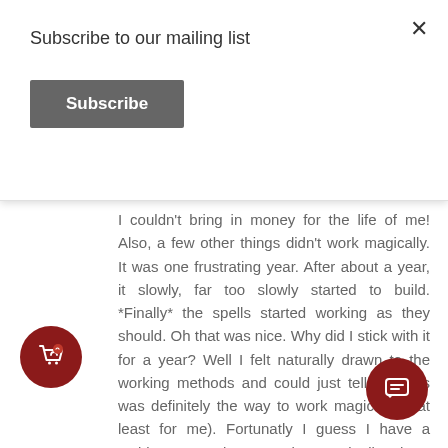Subscribe to our mailing list
Subscribe
I couldn't bring in money for the life of me! Also, a few other things didn't work magically. It was one frustrating year. After about a year, it slowly, far too slowly started to build. *Finally* the spells started working as they should. Oh that was nice. Why did I stick with it for a year? Well I felt naturally drawn to the working methods and could just tell that this was definitely the way to work magic (well at least for me). Fortunatly I guess I have a stubborn streak somewhere. Finally there seemed to be a shift, most of my spells worked, I moved to a place I love, I started to actually make money with this website, and my workings with the invisables were improving. I also started to client work from people online (I had worked for my friends successfully before this, but not complete (nearly strangers). Fortunately during the year and a half be magics finally started working as they should, I had t spell